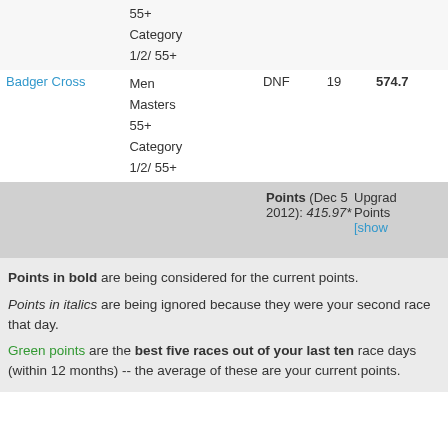| Event | Category | Result | Place | Points |
| --- | --- | --- | --- | --- |
|  | 55+
Category
1/2/ 55+ |  |  |  |
| Badger Cross | Men
Masters
55+
Category
1/2/ 55+ | DNF | 19 | 574.7 |
Points (Dec 5 2012): 415.97*    Upgrade Points    [show]
Points in bold are being considered for the current points.
Points in italics are being ignored because they were your second race that day.
Green points are the best five races out of your last ten race days (within 12 months) -- the average of these are your current points.